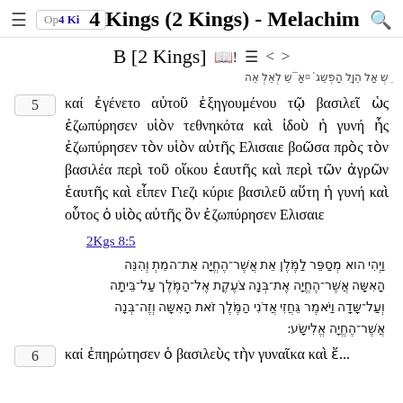4 Kings (2 Kings) - Melachim
B [2 Kings]
Hebrew RTL header text
5 καί ἐγένετο αὐτοῦ ἐξηγουμένου τῷ βασιλεῖ ὡς ἐζωπύρησεν υἱὸν τεθνηκότα καὶ ἰδοὺ ἡ γυνή ἧς ἐζωπύρησεν τὸν υἱὸν αὐτῆς Ελισαιε βοῶσα πρὸς τὸν βασιλέα περὶ τοῦ οἴκου ἑαυτῆς καὶ περὶ τῶν ἀγρῶν ἑαυτῆς καὶ εἶπεν Γιεζι κύριε βασιλεῦ αὕτη ἡ γυνή καὶ οὗτος ὁ υἱὸς αὐτῆς ὃν ἐζωπύρησεν Ελισαιε
2Kgs 8:5
Hebrew verse text (2Kgs 8:5)
6 καί ἐπηρώτησεν ὁ βασιλεὺς τὴν γυναῖκα καί...